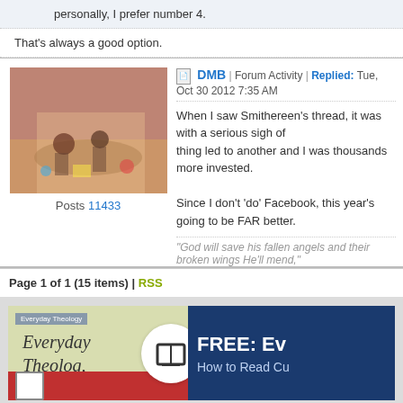personally, I prefer number 4.
That's always a good option.
DMB | Forum Activity | Replied: Tue, Oct 30 2012 7:35 AM
When I saw Smithereen's thread, it was with a serious sigh of... thing led to another and I was thousands more invested.

Since I don't 'do' Facebook, this year's going to be FAR better.
"God will save his fallen angels and their broken wings He'll mend,"
Posts 11433
Page 1 of 1 (15 items) | RSS
[Figure (screenshot): Advertisement banner for 'Everyday Theology' book with FREE offer and 'How to Read Cu...' subtitle on dark blue background]
Copyright Fait